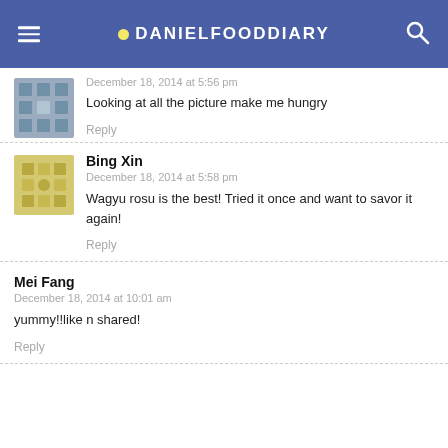DANIELFOODDIARY
December 18, 2014 at 5:56 pm
Looking at all the picture make me hungry
Reply
Bing Xin
December 18, 2014 at 5:58 pm
Wagyu rosu is the best! Tried it once and want to savor it again!
Reply
Mei Fang
December 18, 2014 at 10:01 am
yummy!!like n shared!
Reply